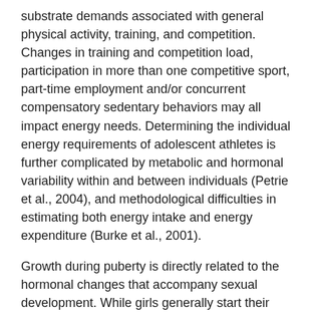substrate demands associated with general physical activity, training, and competition. Changes in training and competition load, participation in more than one competitive sport, part-time employment and/or concurrent compensatory sedentary behaviors may all impact energy needs. Determining the individual energy requirements of adolescent athletes is further complicated by metabolic and hormonal variability within and between individuals (Petrie et al., 2004), and methodological difficulties in estimating both energy intake and energy expenditure (Burke et al., 2001).
Growth during puberty is directly related to the hormonal changes that accompany sexual development. While girls generally start their growth spurt and attain peak height velocity two years earlier than boys (~12 yr vs. ~14 yr), other